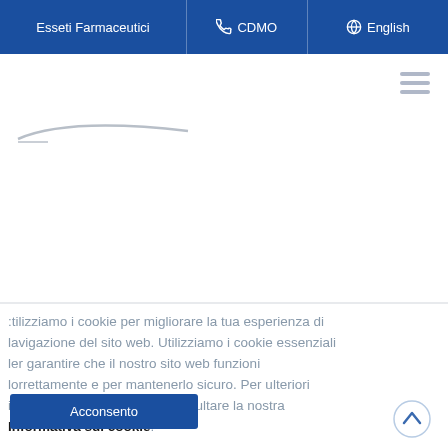Esseti Farmaceutici | CDMO | English
[Figure (logo): Company logo with curved line mark, partially visible]
Utilizziamo i cookie per migliorare la tua esperienza di navigazione del sito web. Utilizziamo i cookie essenziali per garantire che il nostro sito web funzioni correttamente e per mantenerlo sicuro. Per ulteriori informazioni, ti invitiamo a consultare la nostra informativa sui cookie.
Acconsento